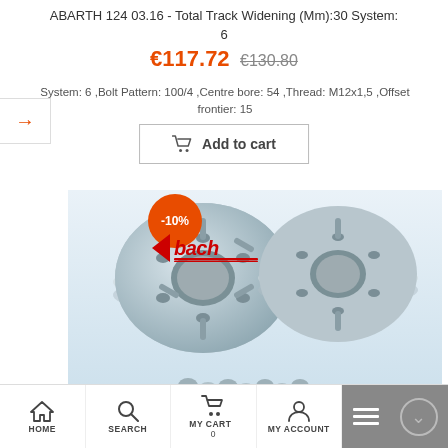ABARTH 124 03.16 - Total Track Widening (Mm):30 System: 6
€117.72  €130.80
System: 6 ,Bolt Pattern: 100/4 ,Centre bore: 54 ,Thread: M12x1,5 ,Offset frontier: 15
[Figure (screenshot): Add to cart button with shopping cart icon]
[Figure (photo): Two silver aluminum wheel spacers with lug bolts and chrome nuts, with Eibach brand logo and -10% discount badge overlay]
HOME  SEARCH  MY CART 0  MY ACCOUNT